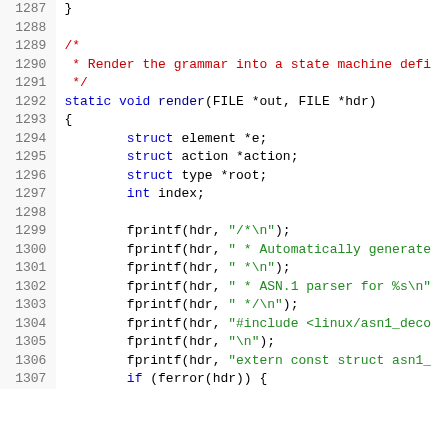Source code listing, lines 1287-1307, C programming language showing a render() function implementation.